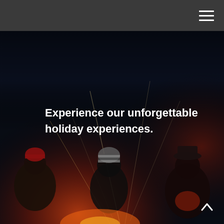[Figure (photo): Three people sitting around a campfire at night. Left person wears a red hat and work jacket, center person wears a striped winter beanie and dark jacket, right person wears a dark hat. The scene is dimly lit with warm orange firelight glowing from below, with streaks of light creating abstract patterns above them.]
Experience our unforgettable holiday experiences.